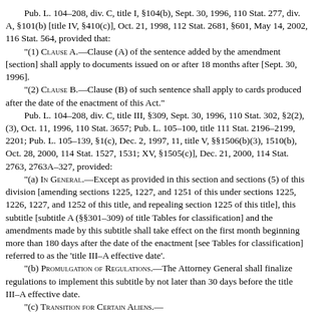Pub. L. 104–208, div. C, title I, §104(b), Sept. 30, 1996, 110 Stat. 277, div. A, §101(b) [title IV, §410(c)], Oct. 21, 1998, 112 Stat. 2681, §601, May 14, 2002, 116 Stat. 564, provided that:
"(1) Clause A.—Clause (A) of the sentence added by the amendment [section] shall apply to documents issued on or after 18 months after [Sept. 30, 1996].
"(2) Clause B.—Clause (B) of such sentence shall apply to cards produced after the date of the enactment of this Act."
Pub. L. 104–208, div. C, title III, §309, Sept. 30, 1996, 110 Stat. 302, §2(2), (3), Oct. 11, 1996, 110 Stat. 3657; Pub. L. 105–100, title 111 Stat. 2196–2199, 2201; Pub. L. 105–139, §1(c), Dec. 2, 1997, 11, title V, §§1506(b)(3), 1510(b), Oct. 28, 2000, 114 Stat. 1527, 1531; XV, §1505(c)], Dec. 21, 2000, 114 Stat. 2763, 2763A–327, provided:
"(a) In General.—Except as provided in this section and sections (5) of this division [amending sections 1225, 1227, and 1251 of this under sections 1225, 1226, 1227, and 1252 of this title, and repealing section 1225 of this title], this subtitle [subtitle A (§§301–309) of title Tables for classification] and the amendments made by this subtitle shall take effect on the first month beginning more than 180 days after the date of the enactment [see Tables for classification] referred to as the 'title III–A effective date'.
"(b) Promulgation of Regulations.—The Attorney General shall promulgate regulations to implement this subtitle by not later than 30 days before the title III–A effective date.
"(c) Transition for Certain Aliens.—
"(1) General rule that new rules do not apply.—Subject to subsection, in the case of an alien who is in exclusion or deportation proceedings before the title III–A effective date—